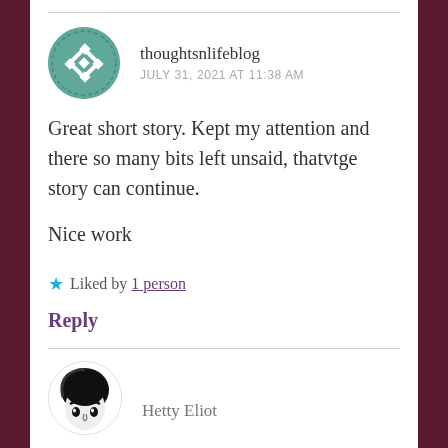thoughtsnlifeblog
JULY 31, 2021 AT 11:38 AM
Great short story. Kept my attention and there so many bits left unsaid, thatvtge story can continue.
Nice work
★ Liked by 1 person
Reply
Hetty Eliot